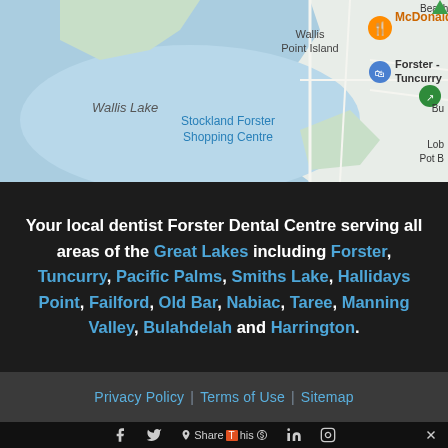[Figure (map): Google Maps screenshot showing Forster-Tuncurry area including Wallis Lake, Wallis Point Island, Stockland Forster Shopping Centre, McDonald's marker, Forster-Tuncurry marker]
Your local dentist Forster Dental Centre serving all areas of the Great Lakes including Forster, Tuncurry, Pacific Palms, Smiths Lake, Hallidays Point, Failford, Old Bar, Nabiac, Taree, Manning Valley, Bulahdelah and Harrington.
Privacy Policy | Terms of Use | Sitemap
Share This social icons bar